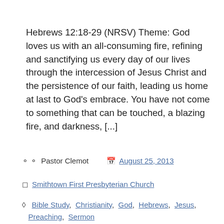Hebrews 12:18-29 (NRSV) Theme: God loves us with an all-consuming fire, refining and sanctifying us every day of our lives through the intercession of Jesus Christ and the persistence of our faith, leading us home at last to God's embrace. You have not come to something that can be touched, a blazing fire, and darkness, [...]
Pastor Clemot  August 25, 2013
Smithtown First Presbyterian Church
Bible Study, Christianity, God, Hebrews, Jesus, Preaching, Sermon